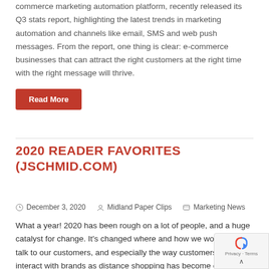commerce marketing automation platform, recently released its Q3 stats report, highlighting the latest trends in marketing automation and channels like email, SMS and web push messages. From the report, one thing is clear: e-commerce businesses that can attract the right customers at the right time with the right message will thrive.
Read More
2020 READER FAVORITES (JSCHMID.COM)
December 3, 2020   Midland Paper Clips   Marketing News
What a year! 2020 has been rough on a lot of people, and a huge catalyst for change. It's changed where and how we work, how we talk to our customers, and especially the way customers shop and interact with brands as distance shopping has become critical. I wanted to take a minute to share the posts that our blog readers have